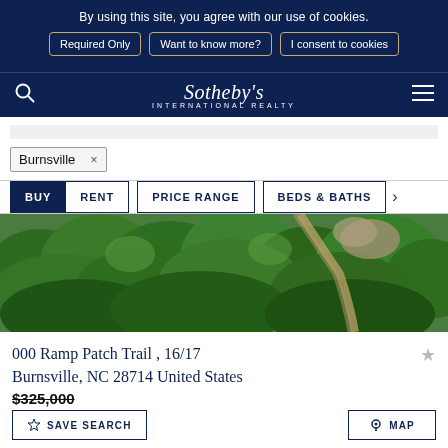By using this site, you agree with our use of cookies.
Required Only
Want to know more?
I consent to cookies
Sotheby's INTERNATIONAL REALTY
Burnsville ×
BUY   RENT   PRICE RANGE   BEDS & BATHS
[Figure (photo): Aerial view of forested mountainside with dirt road visible through tree canopy]
000 Ramp Patch Trail , 16/17
Burnsville, NC 28714 United States
$325,000
SAVE SEARCH
MAP